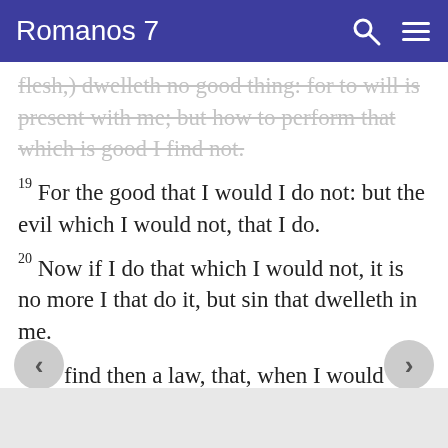Romanos 7
flesh,) dwelleth no good thing: for to will is present with me; but how to perform that which is good I find not.
19 For the good that I would I do not: but the evil which I would not, that I do.
20 Now if I do that which I would not, it is no more I that do it, but sin that dwelleth in me.
find then a law, that, when I would do good, evil is present with me.